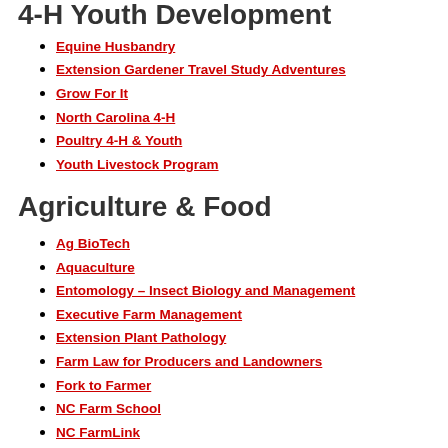4-H Youth Development
Equine Husbandry
Extension Gardener Travel Study Adventures
Grow For It
North Carolina 4-H
Poultry 4-H & Youth
Youth Livestock Program
Agriculture & Food
Ag BioTech
Aquaculture
Entomology – Insect Biology and Management
Executive Farm Management
Extension Plant Pathology
Farm Law for Producers and Landowners
Fork to Farmer
NC Farm School
NC FarmLink
Official Variety Testing
Row Crops and Livestock